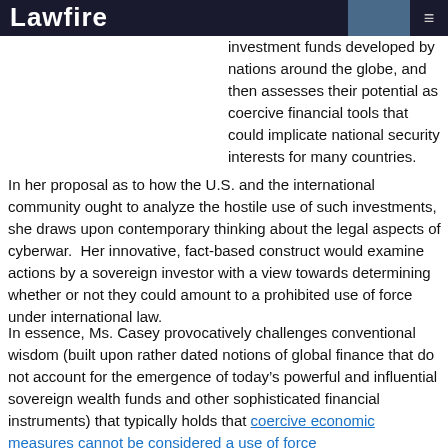Lawfire
investment funds developed by nations around the globe, and then assesses their potential as coercive financial tools that could implicate national security interests for many countries.
In her proposal as to how the U.S. and the international community ought to analyze the hostile use of such investments, she draws upon contemporary thinking about the legal aspects of cyberwar.  Her innovative, fact-based construct would examine actions by a sovereign investor with a view towards determining whether or not they could amount to a prohibited use of force under international law.
In essence, Ms. Casey provocatively challenges conventional wisdom (built upon rather dated notions of global finance that do not account for the emergence of today’s powerful and influential sovereign wealth funds and other sophisticated financial instruments) that typically holds that coercive economic measures cannot be considered a use of force